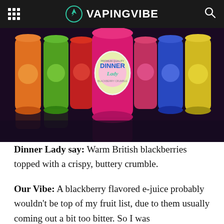VAPINGVIBE
[Figure (photo): Photo of Dinner Lady Blackberry Crumble e-juice bottle in the foreground, surrounded by other colorful e-juice bottles in the background on a dark reflective surface.]
Dinner Lady say: Warm British blackberries topped with a crispy, buttery crumble.
Our Vibe: A blackberry flavored e-juice probably wouldn't be top of my fruit list, due to them usually coming out a bit too bitter. So I was